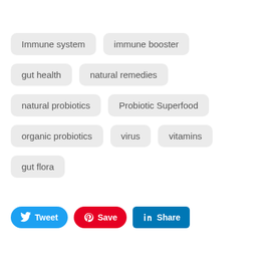Immune system
immune booster
gut health
natural remedies
natural probiotics
Probiotic Superfood
organic probiotics
virus
vitamins
gut flora
Tweet | Save | Share